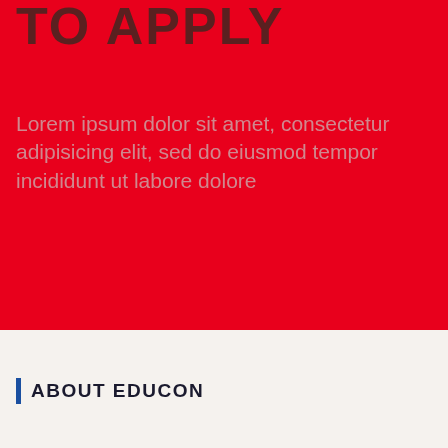TO APPLY
Lorem ipsum dolor sit amet, consectetur adipisicing elit, sed do eiusmod tempor incididunt ut labore dolore
ABOUT EDUCON